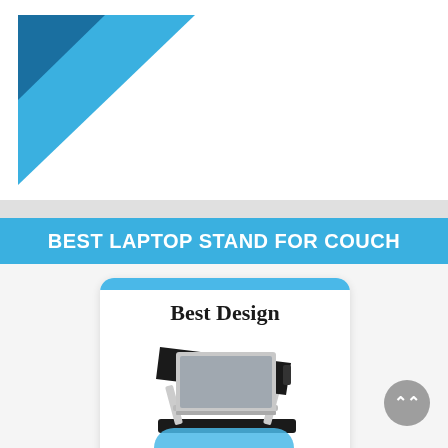[Figure (logo): Blue right-triangle logo in top-left corner of white section]
BEST LAPTOP STAND FOR COUCH
[Figure (photo): NEARPOW Laptop Stand product photo — black adjustable laptop stand with silver legs and a laptop on top]
Best Design
NEARPOW
Laptop Stand